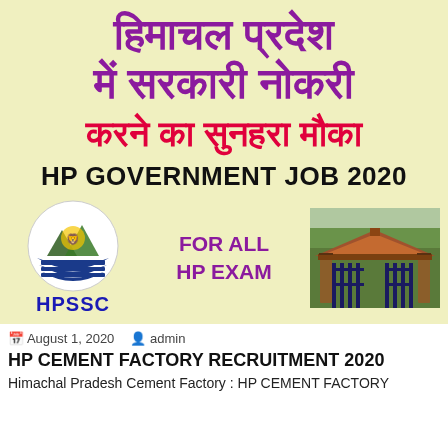[Figure (infographic): HP Government Job 2020 banner in light yellow background with Hindi text, HPSSC logo, FOR ALL HP EXAM text, and a gate photo]
August 1, 2020  admin
HP CEMENT FACTORY RECRUITMENT 2020
Himachal Pradesh Cement Factory : HP CEMENT FACTORY